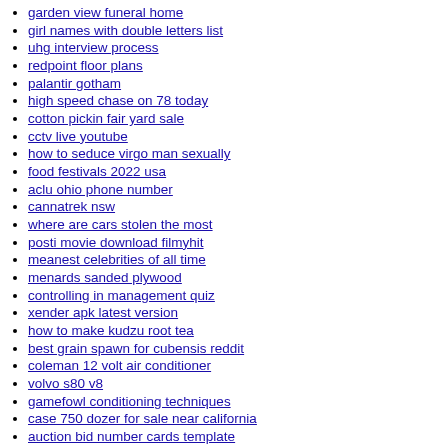garden view funeral home
girl names with double letters list
uhg interview process
redpoint floor plans
palantir gotham
high speed chase on 78 today
cotton pickin fair yard sale
cctv live youtube
how to seduce virgo man sexually
food festivals 2022 usa
aclu ohio phone number
cannatrek nsw
where are cars stolen the most
posti movie download filmyhit
meanest celebrities of all time
menards sanded plywood
controlling in management quiz
xender apk latest version
how to make kudzu root tea
best grain spawn for cubensis reddit
coleman 12 volt air conditioner
volvo s80 v8
gamefowl conditioning techniques
case 750 dozer for sale near california
auction bid number cards template